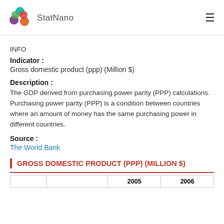StatNano
INFO
Indicator : Gross domestic product (ppp) (Million $)
Description : The GDP derived from purchasing power parity (PPP) calculations. Purchasing power parity (PPP) is a condition between countries where an amount of money has the same purchasing power in different countries.
Source : The World Bank
GROSS DOMESTIC PRODUCT (PPP) (MILLION $)
|  |  | 2005 | 2006 |
| --- | --- | --- | --- |